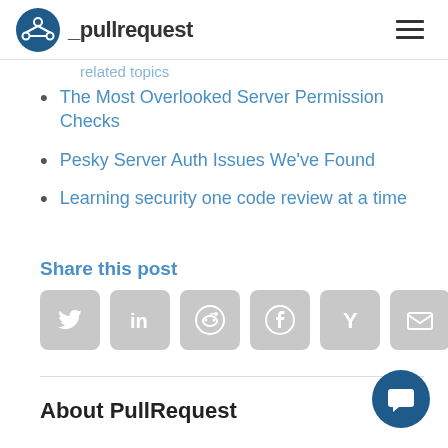_pullrequest
The Most Overlooked Server Permission Checks
Pesky Server Auth Issues We've Found
Learning security one code review at a time
Share this post
[Figure (infographic): Row of 6 social share icon buttons: Twitter, LinkedIn, Reddit, Facebook, Hacker News (Y), Email]
About PullRequest